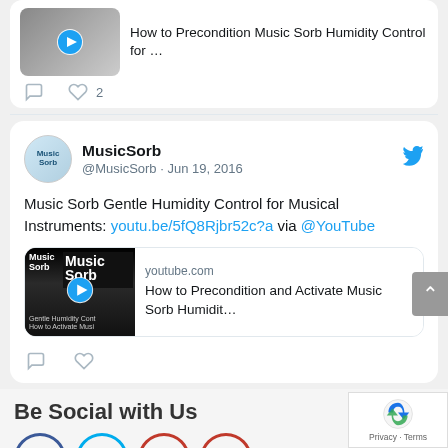[Figure (screenshot): Partial top tweet with thumbnail showing 'How to Precondition Music Sorb Humidity Control for ...' video link, with comment and 2 likes icons]
MusicSorb @MusicSorb · Jun 19, 2016
Music Sorb Gentle Humidity Control for Musical Instruments: youtu.be/5fQ8Rjbr52c?a via @YouTube
[Figure (screenshot): YouTube embed card: youtube.com / How to Precondition and Activate Music Sorb Humidit...]
[Figure (screenshot): Comment and like (heart) icons row at bottom of tweet]
Be Social with Us
[Figure (screenshot): Row of partial social media circle icons (Facebook blue, Twitter light blue, red circles)]
[Figure (screenshot): reCAPTCHA overlay with logo and Privacy · Terms text]